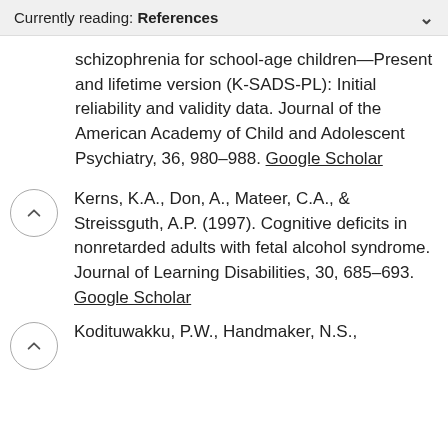Currently reading: References
schizophrenia for school-age children—Present and lifetime version (K-SADS-PL): Initial reliability and validity data. Journal of the American Academy of Child and Adolescent Psychiatry, 36, 980–988. Google Scholar
Kerns, K.A., Don, A., Mateer, C.A., & Streissguth, A.P. (1997). Cognitive deficits in nonretarded adults with fetal alcohol syndrome. Journal of Learning Disabilities, 30, 685–693. Google Scholar
Kodituwakku, P.W., Handmaker, N.S.,